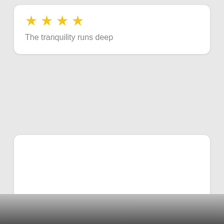★ ★ ★ ★ (4 stars)
The tranquility runs deep
[Figure (logo): Travelfish.org circular logo in grey, showing two fish facing each other with a plant/tree above, and a banner reading TRAVELFISH.ORG below]